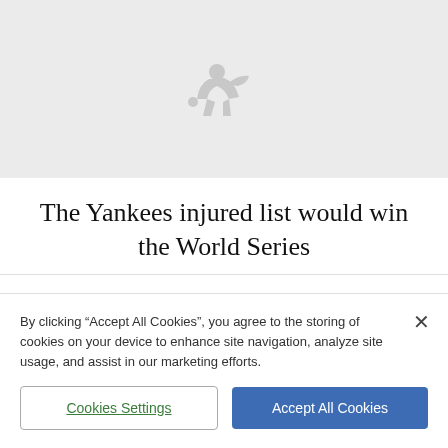[Figure (logo): Gray placeholder area with MLB (Major League Baseball) silhouette logo centered on a light gray background]
The Yankees injured list would win the World Series
By clicking “Accept All Cookies”, you agree to the storing of cookies on your device to enhance site navigation, analyze site usage, and assist in our marketing efforts.
Cookies Settings
Accept All Cookies